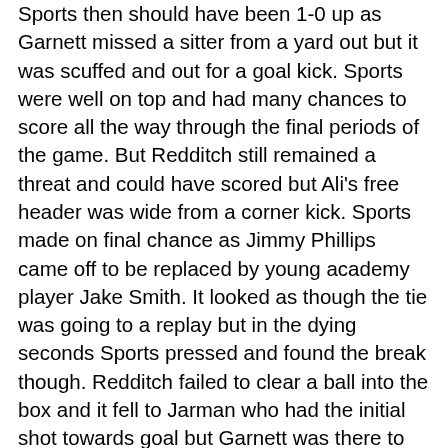Sports then should have been 1-0 up as Garnett missed a sitter from a yard out but it was scuffed and out for a goal kick. Sports were well on top and had many chances to score all the way through the final periods of the game. But Redditch still remained a threat and could have scored but Ali's free header was wide from a corner kick. Sports made on final chance as Jimmy Phillips came off to be replaced by young academy player Jake Smith. It looked as though the tie was going to a replay but in the dying seconds Sports pressed and found the break though. Redditch failed to clear a ball into the box and it fell to Jarman who had the initial shot towards goal but Garnett was there to make sure as he stabbed the ball home from close range to spark relief around the ground for the home fans and despair for the away fans. That was nearly the last kick of the game as the referee blew for full time straight from the restart. A battling performance that came good in the end and one that Sports can take real confidence from and hopefully take it into the league. With Buxton drawing their game Sports now have another free week with Workington AFC up next in the league on Saturday 3rd November at Sports Kick Off